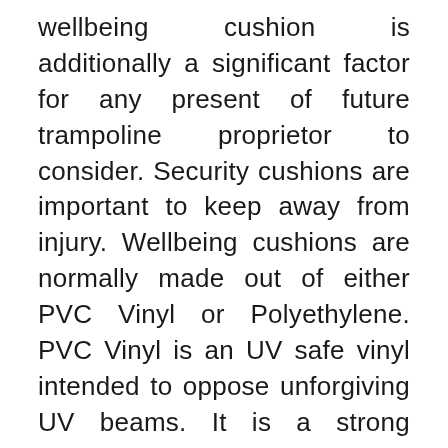wellbeing cushion is additionally a significant factor for any present of future trampoline proprietor to consider. Security cushions are important to keep away from injury. Wellbeing cushions are normally made out of either PVC Vinyl or Polyethylene. PVC Vinyl is an UV safe vinyl intended to oppose unforgiving UV beams. It is a strong material which will outlive Polyethylene. Trampolines can be a shrewd speculation for anybody hoping to have holding time with loved ones, while likewise getting exercise and having a great time. There are a wide range of brands comprising of different value ranges. Customers who are thinking about buying a trampoline ought to consistently recollect that while the underlying expense of the trampoline might be more, the drawn out investment funds